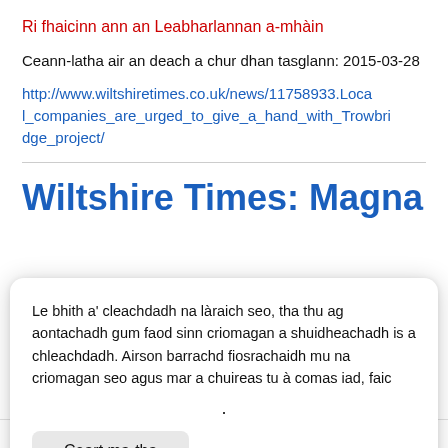Ri fhaicinn ann an Leabharlannan a-mhàin
Ceann-latha air an deach a chur dhan tasglann: 2015-03-28
http://www.wiltshiretimes.co.uk/news/11758933.Local_companies_are_urged_to_give_a_hand_with_Trowbridge_project/
Wiltshire Times: Magna
Le bhith a' cleachdadh na làraich seo, tha thu ag aontachadh gum faod sinn criomagan a shuidheachadh is a chleachdadh. Airson barrachd fiosrachaidh mu na criomagan seo agus mar a chuireas tu à comas iad, faic
.
Ceart ma-tha
11774622 Magna Carta Park /